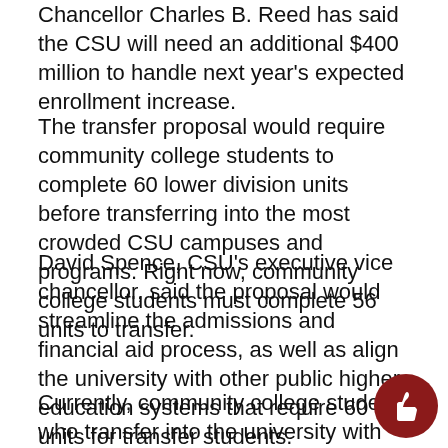Chancellor Charles B. Reed has said the CSU will need an additional $400 million to handle next year's expected enrollment increase.
The transfer proposal would require community college students to complete 60 lower division units before transferring into the most crowded CSU campuses and programs. Right now, community college students must complete 56 units to transfer.
David Spence, CSU's executive vice chancellor, said the proposal would streamline the admissions and financial aid process, as well as align the university with other public higher-education systems that require 60 units for transfer students.
Currently, community college students who transfer into the university with less than 60 credits are still considered a sophomore, said Spence. Those transfer students then can re-enroll until they obtain the...